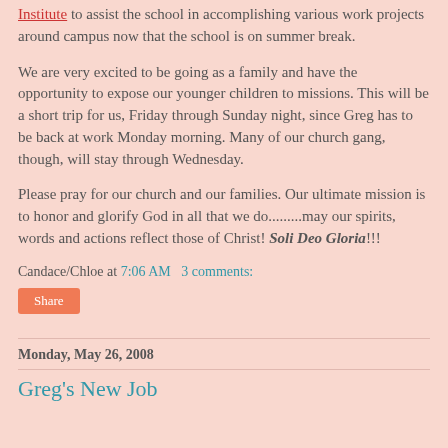Institute to assist the school in accomplishing various work projects around campus now that the school is on summer break.
We are very excited to be going as a family and have the opportunity to expose our younger children to missions. This will be a short trip for us, Friday through Sunday night, since Greg has to be back at work Monday morning. Many of our church gang, though, will stay through Wednesday.
Please pray for our church and our families. Our ultimate mission is to honor and glorify God in all that we do.........may our spirits, words and actions reflect those of Christ! Soli Deo Gloria!!!
Candace/Chloe at 7:06 AM   3 comments:
Share
Monday, May 26, 2008
Greg's New Job